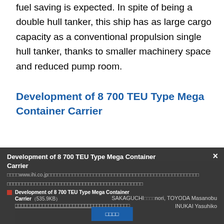fuel saving is expected. In spite of being a double hull tanker, this ship has as large cargo capacity as a conventional propulsion single hull tanker, thanks to smaller machinery space and reduced pump room.
Development of 8 700 TEU Type Mega Container Carrier
[Figure (screenshot): A modal dialog overlay on a grey box/page background showing a document entry for 'Development of 8 700 TEU Type Mega Container Carrier' with Japanese text, a red bullet, file size (535.9KB), author names SAKAGUCHI, TOYODA Masanobu, INUKAI Yasuhiko, a blue download button with Japanese text, and a close (×) button.]